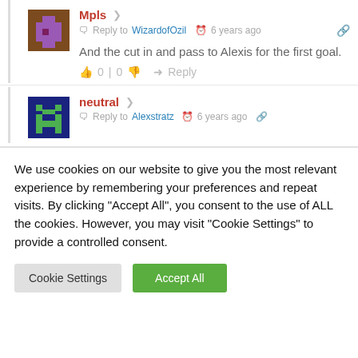[Figure (illustration): Pixel art avatar for user Mpls, brown/purple space invader style character]
Mpls
Reply to WizardofOzil  6 years ago
And the cut in and pass to Alexis for the first goal.
0 | 0  → Reply
[Figure (illustration): Pixel art avatar for user neutral, dark blue/green space invader style character]
neutral
Reply to Alexstratz  6 years ago
We use cookies on our website to give you the most relevant experience by remembering your preferences and repeat visits. By clicking "Accept All", you consent to the use of ALL the cookies. However, you may visit "Cookie Settings" to provide a controlled consent.
Cookie Settings
Accept All